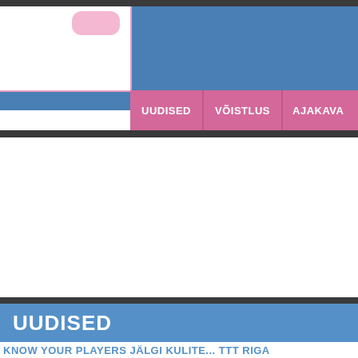[Figure (screenshot): Website screenshot showing a blue header area with a white content box in the top-left corner containing a pink rounded pill/tab element, and a pink navigation bar with menu items UUDISED, VÕISTLUS, AJAKAVA]
UUDISED
KNOW YOUR PLAYERS JÄLGI KULITE... TTT RIGA